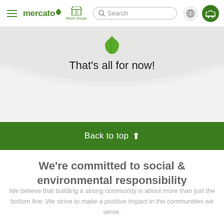[Figure (screenshot): Mercato website navigation bar with hamburger menu, Mercato logo with green leaf, More shops icon, search bar, globe icon, and green basket icon]
[Figure (illustration): Grey arc/bowl shape with a green leaf icon in the center and the text 'That's all for now!' below it on a light grey background]
Back to top ↑
We're committed to social & environmental responsibility
We believe that building a strong community is about more than just the bottom line. We strive to make a positive impact in the communities we serve.